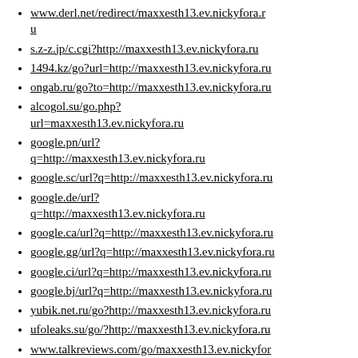www.derl.net/redirect/maxxesth13.ev.nickyfora.ru
s.z-z.jp/c.cgi?http://maxxesth13.ev.nickyfora.ru
1494.kz/go?url=http://maxxesth13.ev.nickyfora.ru
ongab.ru/go?to=http://maxxesth13.ev.nickyfora.ru
alcogol.su/go.php?url=maxxesth13.ev.nickyfora.ru
google.pn/url?q=http://maxxesth13.ev.nickyfora.ru
google.sc/url?q=http://maxxesth13.ev.nickyfora.ru
google.de/url?q=http://maxxesth13.ev.nickyfora.ru
google.ca/url?q=http://maxxesth13.ev.nickyfora.ru
google.gg/url?q=http://maxxesth13.ev.nickyfora.ru
google.ci/url?q=http://maxxesth13.ev.nickyfora.ru
google.bj/url?q=http://maxxesth13.ev.nickyfora.ru
yubik.net.ru/go?http://maxxesth13.ev.nickyfora.ru
ufoleaks.su/go/?http://maxxesth13.ev.nickyfora.ru
www.talkreviews.com/go/maxxesth13.ev.nickyfor